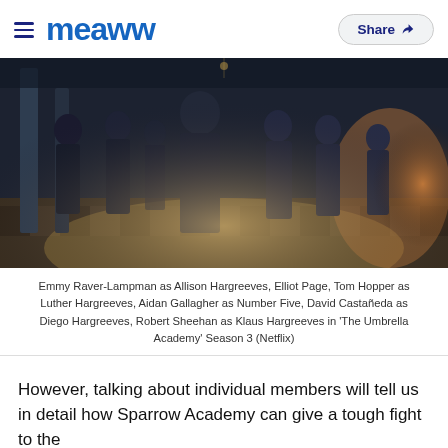meaww — Share
[Figure (photo): Scene from The Umbrella Academy Season 3 on Netflix, showing Emmy Raver-Lampman as Allison Hargreeves, Elliot Page, Tom Hopper as Luther Hargreeves, Aidan Gallagher as Number Five, David Castañeda as Diego Hargreeves, Robert Sheehan as Klaus Hargreeves standing in a grand hall with checkerboard floors and dramatic lighting.]
Emmy Raver-Lampman as Allison Hargreeves, Elliot Page, Tom Hopper as Luther Hargreeves, Aidan Gallagher as Number Five, David Castañeda as Diego Hargreeves, Robert Sheehan as Klaus Hargreeves in 'The Umbrella Academy' Season 3 (Netflix)
However, talking about individual members will tell us in detail how Sparrow Academy can give a tough fight to the